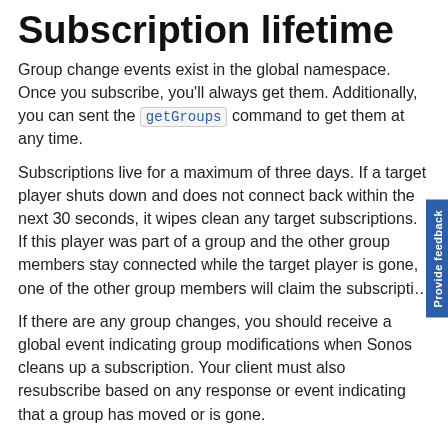Subscription lifetime
Group change events exist in the global namespace. Once you subscribe, you'll always get them. Additionally, you can sent the getGroups command to get them at any time.
Subscriptions live for a maximum of three days. If a target player shuts down and does not connect back within the next 30 seconds, it wipes clean any target subscriptions. If this player was part of a group and the other group members stay connected while the target player is gone, one of the other group members will claim the subscription.
If there are any group changes, you should receive a global event indicating group modifications when Sonos cleans up a subscription. Your client must also resubscribe based on any response or event indicating that a group has moved or is gone.